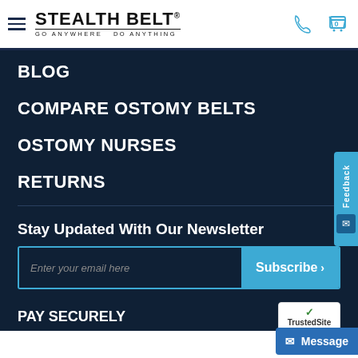STEALTH BELT® — GO ANYWHERE DO ANYTHING
BLOG
COMPARE OSTOMY BELTS
OSTOMY NURSES
RETURNS
Stay Updated With Our Newsletter
Enter your email here | Subscribe
Pay Securely
[Figure (logo): TrustedSite badge with green checkmark]
Feedback
Message